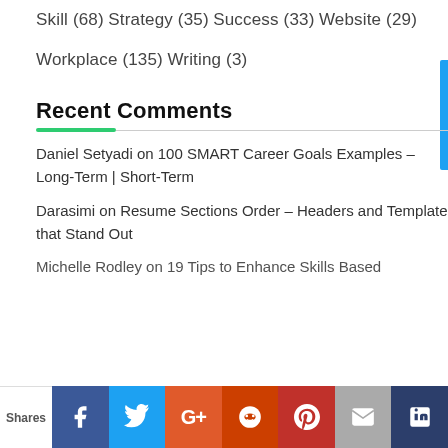Skill (68)
Strategy (35)
Success (33)
Website (29)
Workplace (135)
Writing (3)
Recent Comments
Daniel Setyadi on 100 SMART Career Goals Examples – Long-Term | Short-Term
Darasimi on Resume Sections Order – Headers and Template that Stand Out
Michelle Rodley on 19 Tips to Enhance Skills Based